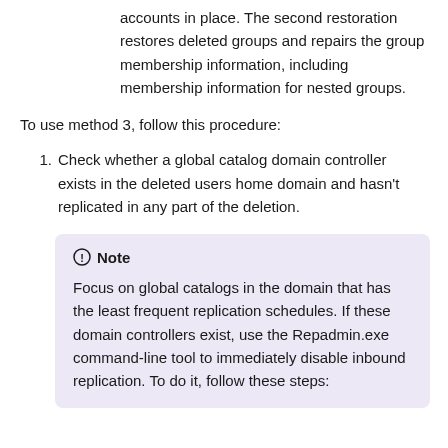accounts in place. The second restoration restores deleted groups and repairs the group membership information, including membership information for nested groups.
To use method 3, follow this procedure:
Check whether a global catalog domain controller exists in the deleted users home domain and hasn't replicated in any part of the deletion.
Note
Focus on global catalogs in the domain that has the least frequent replication schedules. If these domain controllers exist, use the Repadmin.exe command-line tool to immediately disable inbound replication. To do it, follow these steps: